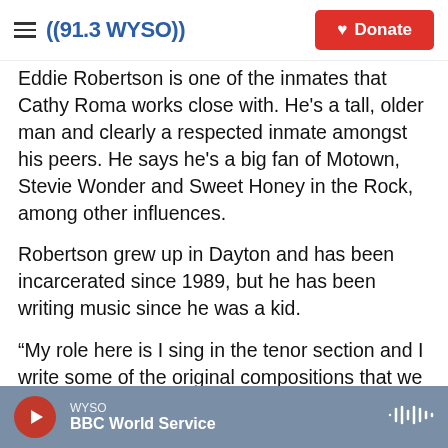((91.3 WYSO)) Donate
Eddie Robertson is one of the inmates that Cathy Roma works close with. He's a tall, older man and clearly a respected inmate amongst his peers. He says he's a big fan of Motown, Stevie Wonder and Sweet Honey in the Rock, among other influences.
Robertson grew up in Dayton and has been incarcerated since 1989, but he has been writing music since he was a kid.
“My role here is I sing in the tenor section and I write some of the original compositions that we do,” Robertson says. “It’s easy to write because I get inspiration from everything around me, from
WYSO · BBC World Service